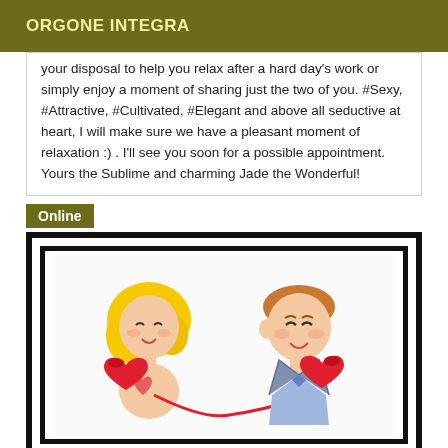ORGONE INTEGRA
your disposal to help you relax after a hard day's work or simply enjoy a moment of sharing just the two of you. #Sexy, #Attractive, #Cultivated, #Elegant and above all seductive at heart, I will make sure we have a pleasant moment of relaxation :) . I'll see you soon for a possible appointment. Yours the Sublime and charming Jade the Wonderful!
Online
[Figure (illustration): Cartoon illustration of a man and woman talking on red heart-shaped telephones, framed in a black double border.]